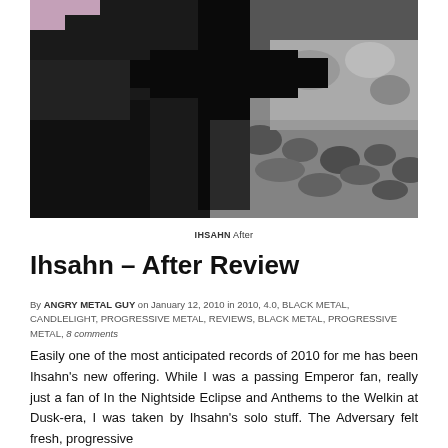[Figure (photo): Black and white photograph showing a dark silhouette of a cross or tree shape against a rocky, textured background with high contrast]
IHSAHN After
Ihsahn – After Review
By ANGRY METAL GUY on January 12, 2010 in 2010, 4.0, BLACK METAL, CANDLELIGHT, PROGRESSIVE METAL, REVIEWS, BLACK METAL, PROGRESSIVE METAL, 8 comments
Easily one of the most anticipated records of 2010 for me has been Ihsahn's new offering. While I was a passing Emperor fan, really just a fan of In the Nightside Eclipse and Anthems to the Welkin at Dusk-era, I was taken by Ihsahn's solo stuff. The Adversary felt fresh, progressive